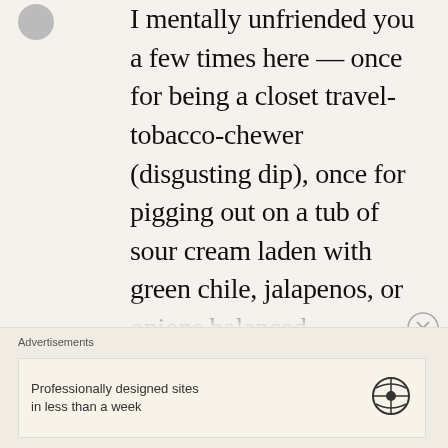I mentally unfriended you a few times here — once for being a closet travel-tobacco-chewer (disgusting dip), once for pigging out on a tub of sour cream laden with green chile, jalapenos, or onions balanced precariously on the dashboard of your beat-up truck (dangerous dip. with chips.) and once for cheating on your new girlfriend on route to her house
Advertisements
Professionally designed sites in less than a week